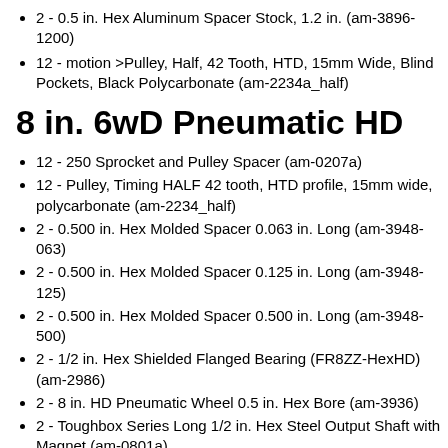2 - 0.5 in. Hex Aluminum Spacer Stock, 1.2 in. (am-3896-1200)
12 - motion >Pulley, Half, 42 Tooth, HTD, 15mm Wide, Blind Pockets, Black Polycarbonate (am-2234a_half)
8 in. 6wD Pneumatic HD
12 - 250 Sprocket and Pulley Spacer (am-0207a)
12 - Pulley, Timing HALF 42 tooth, HTD profile, 15mm wide, polycarbonate (am-2234_half)
2 - 0.500 in. Hex Molded Spacer 0.063 in. Long (am-3948-063)
2 - 0.500 in. Hex Molded Spacer 0.125 in. Long (am-3948-125)
2 - 0.500 in. Hex Molded Spacer 0.500 in. Long (am-3948-500)
2 - 1/2 in. Hex Shielded Flanged Bearing (FR8ZZ-HexHD) (am-2986)
2 - 8 in. HD Pneumatic Wheel 0.5 in. Hex Bore (am-3936)
2 - Toughbox Series Long 1/2 in. Hex Steel Output Shaft with Magnet (am-0801a)
3 - Churro Aluminum Tube, 1 ft long (am-3101-1)
36 - 10-32 x 2 in. SHCS (am-1049)
4 - .32 in. ID 0.375 OD 0.500 in. Shoulder Spacer Nylon (am-1519)
4 - 0.375 in. Hex Molded Spacer 0.250 in. Long (am-3947-250)
4 - 0.375 in. Hex Molded Spacer 1.000 in. Long (am-3947-